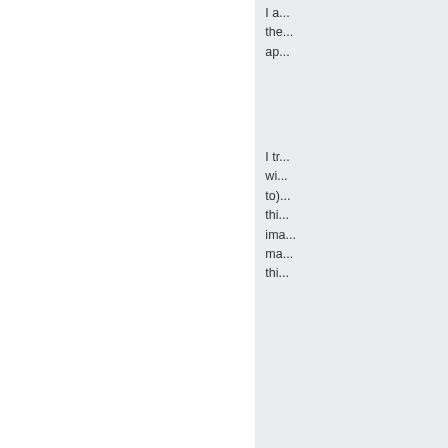I a... the... ap...
I tr... wi... to)... thi... ima... ma... thi...
KI... wi... rai... roll...
Th... Cr... infl...
My... wi... infl... ma...